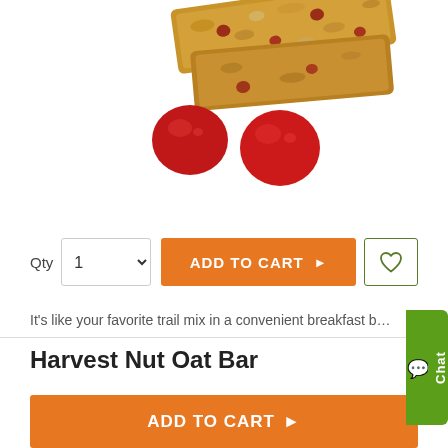[Figure (photo): Product photo showing granola/oat bars with cranberries scattered nearby on white background]
Qty  1   ADD TO CART ►  [wishlist heart button]
It's like your favorite trail mix in a convenient breakfast b…
Harvest Nut Oat Bar
ADD TO CART ►